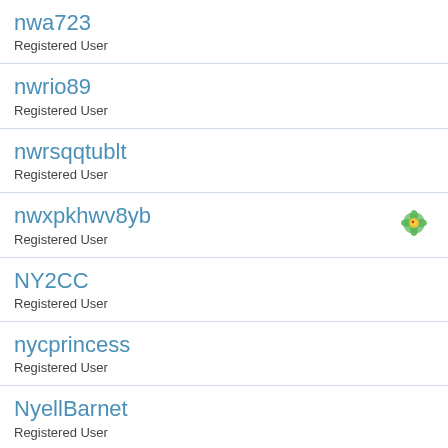nwa723
Registered User
nwrio89
Registered User
nwrsqqtublt
Registered User
nwxpkhwv8yb
Registered User
NY2CC
Registered User
nycprincess
Registered User
NyellBarnet
Registered User
nygijyp
Registered User